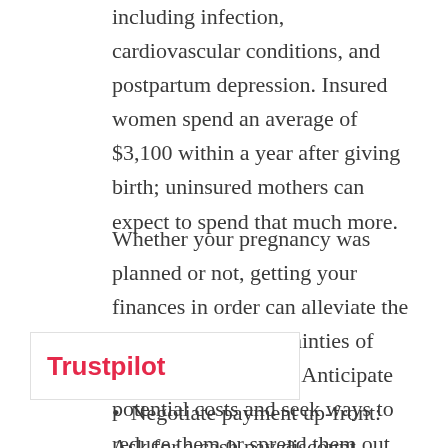including infection, cardiovascular conditions, and postpartum depression. Insured women spend an average of $3,100 within a year after giving birth; uninsured mothers can expect to spend that much more.
Whether your pregnancy was planned or not, getting your finances in order can alleviate the stress that the uncertainties of pregnancy can bring. Anticipate potential costs and seek ways to reduce them or spread them out. Here are a few ways to lighten the financial load of childbirth:
Negotiate payment up-front: Ask for a cash pay discount, especially if you can make full payments up-front.
[Figure (logo): Trustpilot logo overlay in red/pink text on white background with border]